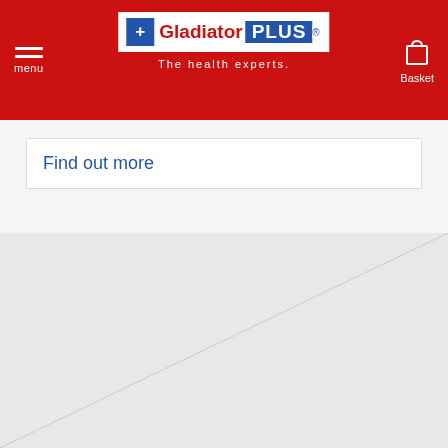Gladiator PLUS — The health experts. menu | Basket
Find out more
[Figure (photo): Light grey image placeholder with diagonal grey gradient line, no visible product image loaded]